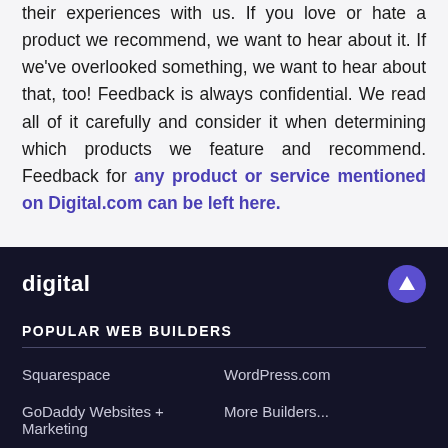their experiences with us. If you love or hate a product we recommend, we want to hear about it. If we've overlooked something, we want to hear about that, too! Feedback is always confidential. We read all of it carefully and consider it when determining which products we feature and recommend. Feedback for any product or service mentioned on Digital.com can be left here.
digital | POPULAR WEB BUILDERS | Squarespace | WordPress.com | GoDaddy Websites + Marketing | More Builders...